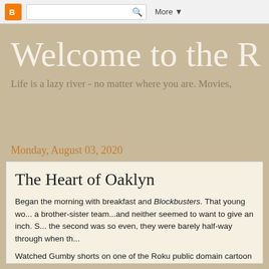[Blogger navbar with search and More button]
Welcome to the R
Life is a lazy river - no matter where you are. Movies,
Monday, August 03, 2020
The Heart of Oaklyn
Began the morning with breakfast and Blockbusters. That young wo... a brother-sister team...and neither seemed to want to give an inch. S... the second was so even, they were barely half-way through when th...
Watched Gumby shorts on one of the Roku public domain cartoon a... creates a "Robot Rumpus" when the robots he created to do his outs... control and start destroying the yard. "Toy Crazy" has him and Pokey...